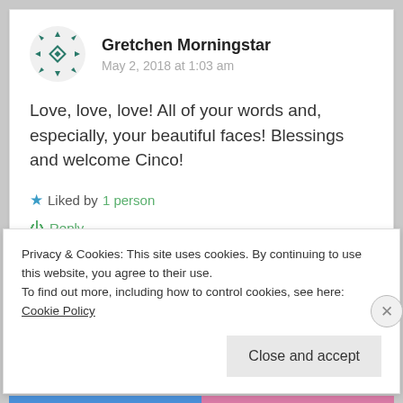[Figure (illustration): Geometric decorative avatar icon in teal/dark green with diamond and arrow pattern]
Gretchen Morningstar
May 2, 2018 at 1:03 am
Love, love, love! All of your words and, especially, your beautiful faces! Blessings and welcome Cinco!
★ Liked by 1 person
⏻ Reply
Privacy & Cookies: This site uses cookies. By continuing to use this website, you agree to their use.
To find out more, including how to control cookies, see here: Cookie Policy
Close and accept